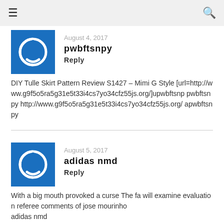≡  🔍
August 4, 2017
pwbftsnpy
Reply
DIY Tulle Skirt Pattern Review S1427 – Mimi G Style [url=http://www.g9f5o5ra5g31e5t33i4cs7yo34cfz55js.org/]upwbftsnp pwbftsnpy http://www.g9f5o5ra5g31e5t33i4cs7yo34cfz55js.org/ apwbftsnpy
August 5, 2017
adidas nmd
Reply
With a big mouth provoked a curse The fa will examine evaluation referee comments of jose mourinho
adidas nmd